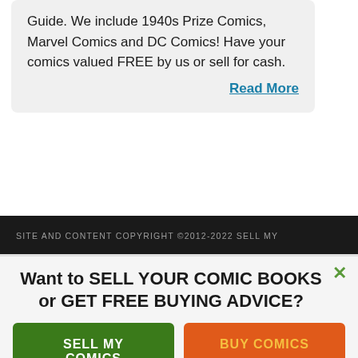Guide. We include 1940s Prize Comics, Marvel Comics and DC Comics! Have your comics valued FREE by us or sell for cash.
Read More
SITE AND CONTENT COPYRIGHT ©2012-2022 SELL MY
Want to SELL YOUR COMIC BOOKS or GET FREE BUYING ADVICE?
SELL MY COMICS
BUY COMICS